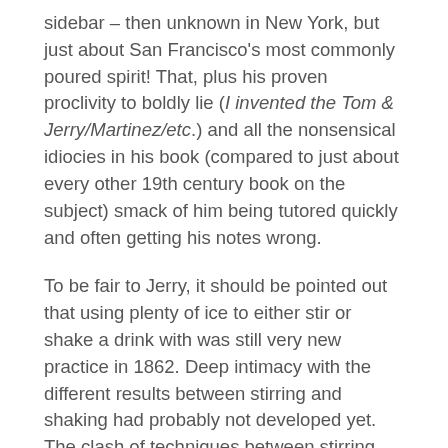sidebar – then unknown in New York, but just about San Francisco's most commonly poured spirit! That, plus his proven proclivity to boldly lie (I invented the Tom & Jerry/Martinez/etc.) and all the nonsensical idiocies in his book (compared to just about every other 19th century book on the subject) smack of him being tutored quickly and often getting his notes wrong.
To be fair to Jerry, it should be pointed out that using plenty of ice to either stir or shake a drink with was still very new practice in 1862. Deep intimacy with the different results between stirring and shaking had probably not developed yet. The clash of techniques between stirring and shaking true cocktails wasn't actually settled until... it's still not settled.
A majority (but not all) of my students say they like the